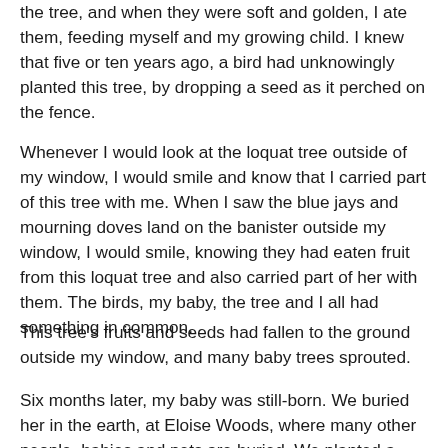the tree, and when they were soft and golden, I ate them, feeding myself and my growing child. I knew that five or ten years ago, a bird had unknowingly planted this tree, by dropping a seed as it perched on the fence.
Whenever I would look at the loquat tree outside of my window, I would smile and know that I carried part of this tree with me. When I saw the blue jays and mourning doves land on the banister outside my window, I would smile, knowing they had eaten fruit from this loquat tree and also carried part of her with them. The birds, my baby, the tree and I all had something in common.
This tree's fruits and seeds had fallen to the ground outside my window, and many baby trees sprouted.
Six months later, my baby was still-born. We buried her in the earth, at Eloise Woods, where many other people, babies and pets are buried. We planted a loquat seedling